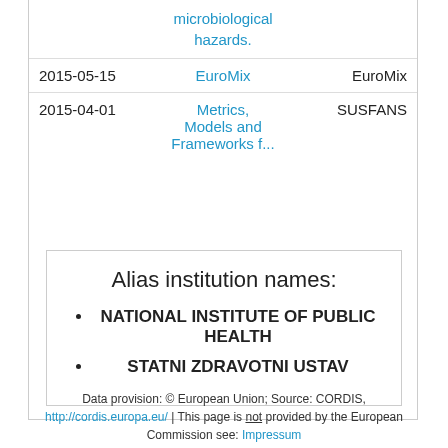| Date | Project | Acronym |
| --- | --- | --- |
|  | microbiological hazards. |  |
| 2015-05-15 | EuroMix | EuroMix |
| 2015-04-01 | Metrics, Models and Frameworks for... | SUSFANS |
Alias institution names:
NATIONAL INSTITUTE OF PUBLIC HEALTH
STATNI ZDRAVOTNI USTAV
Data provision: © European Union; Source: CORDIS, http://cordis.europa.eu/ | This page is not provided by the European Commission see: Impressum